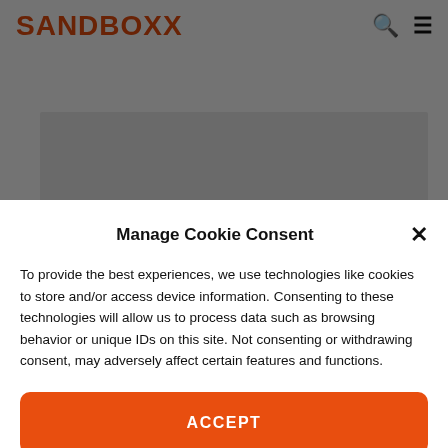SANDBOXX
[Figure (screenshot): Partially visible web page content with a gray rectangle placeholder and a comment row showing an avatar photo and the text 'Sid Trevethan says']
Manage Cookie Consent
To provide the best experiences, we use technologies like cookies to store and/or access device information. Consenting to these technologies will allow us to process data such as browsing behavior or unique IDs on this site. Not consenting or withdrawing consent, may adversely affect certain features and functions.
ACCEPT
Opt-out preferences   Privacy Policy